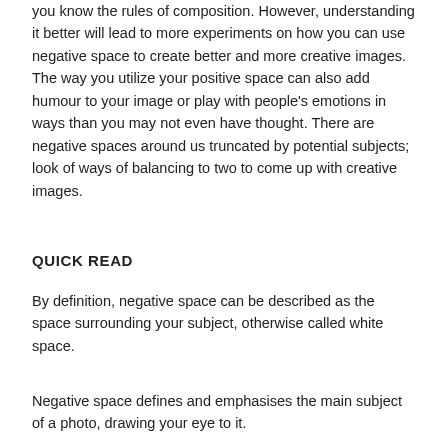Negative space is not difficult to understand as long as you know the rules of composition. However, understanding it better will lead to more experiments on how you can use negative space to create better and more creative images. The way you utilize your positive space can also add humour to your image or play with people's emotions in ways than you may not even have thought. There are negative spaces around us truncated by potential subjects; look of ways of balancing to two to come up with creative images.
QUICK READ
By definition, negative space can be described as the space surrounding your subject, otherwise called white space.
Negative space defines and emphasises the main subject of a photo, drawing your eye to it.